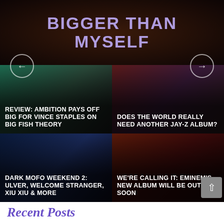BIGGER THAN MYSELF
[Figure (screenshot): 2x2 grid of music article thumbnails with overlaid text headlines]
REVIEW: AMBITION PAYS OFF BIG FOR VINCE STAPLES ON BIG FISH THEORY
DOES THE WORLD REALLY NEED ANOTHER JAY-Z ALBUM?
DARK MOFO WEEKEND 2: ULVER, WELCOME STRANGER, XIU XIU & MORE
WE'RE CALLING IT: EMINEM'S NEW ALBUM WILL BE OUT SOON
Recent Posts